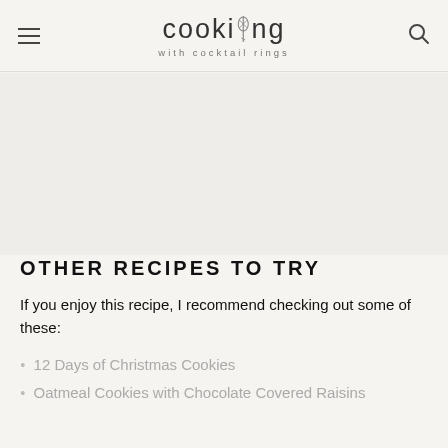cooking with cocktail rings
OTHER RECIPES TO TRY
If you enjoy this recipe, I recommend checking out some of these:
12 Days of Christmas Cookies
Oatmeal Cookies with Chocolate Covered Raisins